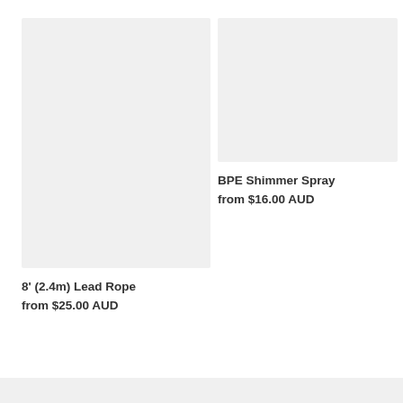[Figure (photo): Product image placeholder for 8' (2.4m) Lead Rope — light gray rectangle]
8' (2.4m) Lead Rope
from $25.00 AUD
[Figure (photo): Product image placeholder for BPE Shimmer Spray — light gray rectangle]
BPE Shimmer Spray
from $16.00 AUD